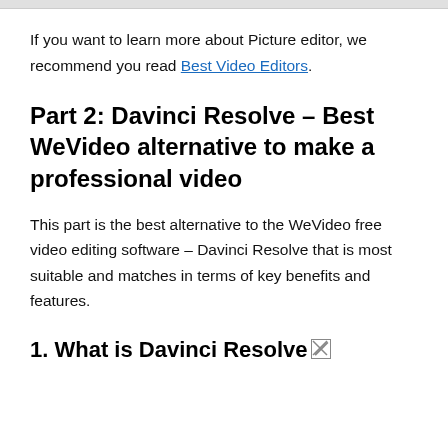If you want to learn more about Picture editor, we recommend you read Best Video Editors.
Part 2: Davinci Resolve – Best WeVideo alternative to make a professional video
This part is the best alternative to the WeVideo free video editing software – Davinci Resolve that is most suitable and matches in terms of key benefits and features.
1. What is Davinci Resolve